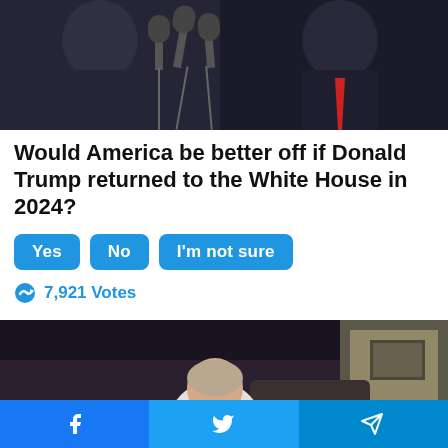[Figure (photo): Two people in dark suits at microphones, one with a red tie visible, at a press conference or podium setting]
Would America be better off if Donald Trump returned to the White House in 2024?
Yes   No   I'm not sure
7,921 Votes
[Figure (photo): Elderly woman in floral pajamas sitting on the edge of a bed, head bowed, in a dimly lit bedroom with a lamp and framed picture on the wall]
Facebook  Twitter  Telegram